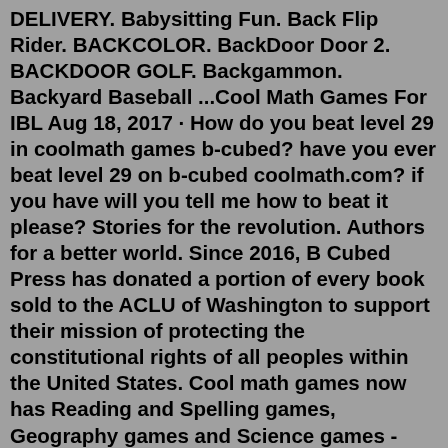DELIVERY. Babysitting Fun. Back Flip Rider. BACKCOLOR. BackDoor Door 2. BACKDOOR GOLF. Backgammon. Backyard Baseball ...Cool Math Games For IBL Aug 18, 2017 · How do you beat level 29 in coolmath games b-cubed? have you ever beat level 29 on b-cubed coolmath.com? if you have will you tell me how to beat it please? Stories for the revolution. Authors for a better world. Since 2016, B Cubed Press has donated a portion of every book sold to the ACLU of Washington to support their mission of protecting the constitutional rights of all peoples within the United States. Cool math games now has Reading and Spelling games, Geography games and Science games - woo hoo! We also have some cool jigsaw puzzles and mazes. But, I know what they are asking about - our cool "thinking" games like B-Cubed, Snorzees and Rotate and Roll. At first glance, these might not seem like "educational" games... But, just try to play them. Best cool math games 1) Run 3 Run 3/Coolmath Games. Coolmath's Run series is